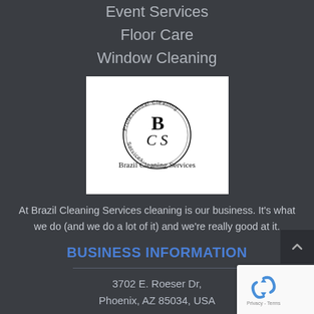Event Services
Floor Care
Window Cleaning
[Figure (logo): Brazil Cleaning Services logo — circular text reading 'Professional·Cleaning·Services' around stylized BCS letters, with 'Brazil Cleaning Services' below]
At Brazil Cleaning Services cleaning is our business. It's what we do (and we do a lot of it) and we're really good at it.
BUSINESS INFORMATION
3702 E. Roeser Dr,
Phoenix, AZ 85034, USA